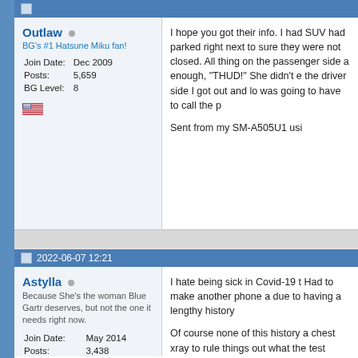Post header (cropped)
Outlaw — BG's #1 Hatsune Miku fan! Join Date: Dec 2009 Posts: 5,659 BG Level: 8
I hope you got their info. I had SUV had parked right next to sure they were not closed. All thing on the passenger side a enough, "THUD!" She didn't e the driver side I got out and lo was going to have to call the p

Sent from my SM-A505U1 usi
2022-06-07 12:21
Astylla — Because She's the woman Blue Gartr deserves, but not the one it needs right now. Join Date: May 2014 Posts: 3,438 BG Level: 7 WoW Realm: Zul'jin
I hate being sick in Covid-19 t Had to make another phone a due to having a lengthy history

Of course none of this history a chest xray to rule things out what the test says...sigh. My p antibiotics because she knows must be bad.